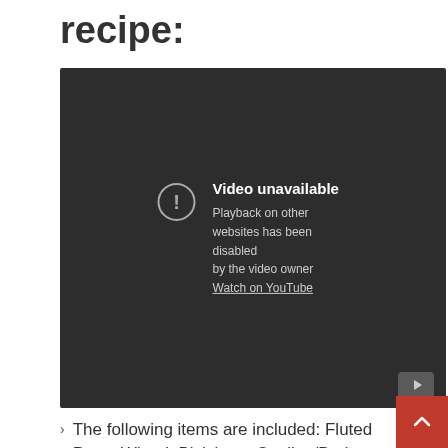recipe:
[Figure (screenshot): Embedded YouTube video player showing 'Video unavailable' message. Text reads: 'Video unavailable. Playback on other websites has been disabled by the video owner. Watch on YouTube']
The following items are included: Fluted Pasta Wheel, Biciclotta, Cooling/Drying...